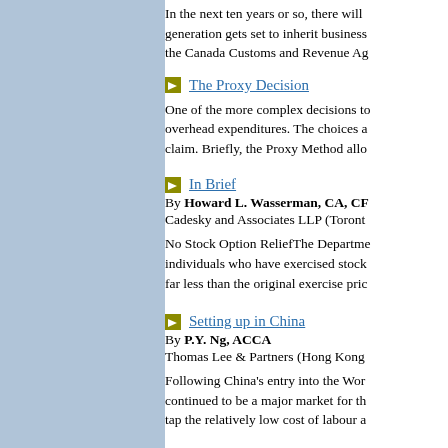In the next ten years or so, there will generation gets set to inherit business the Canada Customs and Revenue Ag
The Proxy Decision
One of the more complex decisions to overhead expenditures. The choices a claim. Briefly, the Proxy Method allo
In Brief
By Howard L. Wasserman, CA, CF Cadesky and Associates LLP (Toront
No Stock Option ReliefThe Departme individuals who have exercised stock far less than the original exercise pric
Setting up in China
By P.Y. Ng, ACCA Thomas Lee & Partners (Hong Kong
Following China's entry into the Wor continued to be a major market for th tap the relatively low cost of labour a